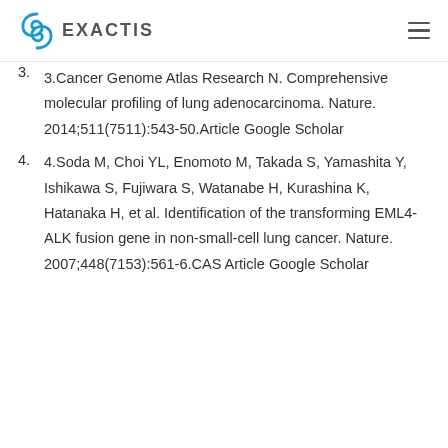EXACTIS
3. 3.Cancer Genome Atlas Research N. Comprehensive molecular profiling of lung adenocarcinoma. Nature. 2014;511(7511):543-50.Article Google Scholar
4. 4.Soda M, Choi YL, Enomoto M, Takada S, Yamashita Y, Ishikawa S, Fujiwara S, Watanabe H, Kurashina K, Hatanaka H, et al. Identification of the transforming EML4-ALK fusion gene in non-small-cell lung cancer. Nature. 2007;448(7153):561-6.CAS Article Google Scholar